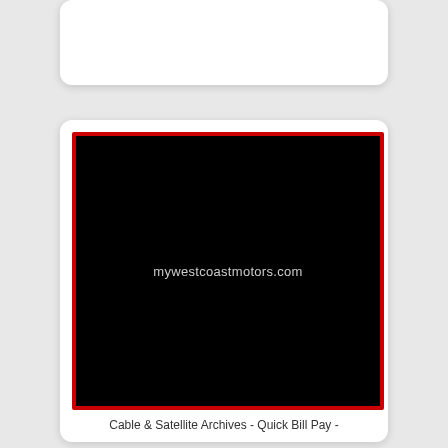[Figure (screenshot): Black rectangle with red border containing the text 'mywestcoastmotors.com' in light gray on a black background]
Cable & Satellite Archives - Quick Bill Pay -